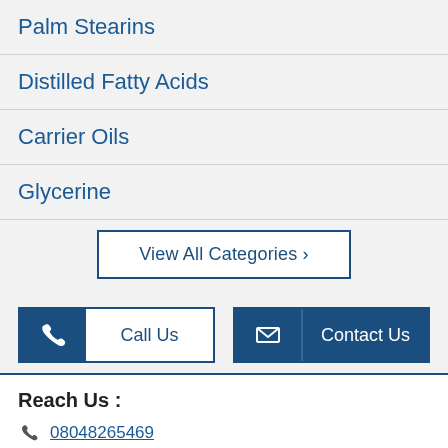Palm Stearins
Distilled Fatty Acids
Carrier Oils
Glycerine
View All Categories ›
Call Us
Contact Us
Reach Us :
08048265469
Nirav Vira (Proprietor)